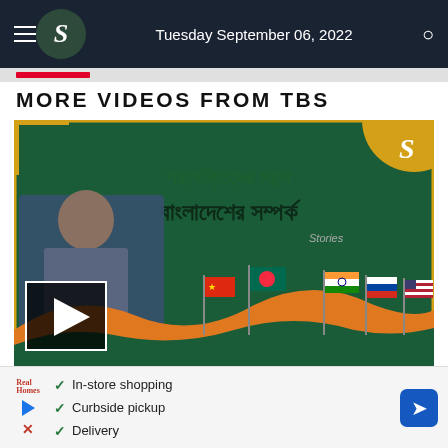TBS — Tuesday September 06, 2022
MORE VIDEOS FROM TBS
[Figure (screenshot): Video thumbnail showing a Bengali-language TBS news video about Bangladesh's relations with superpowers, featuring a presenter, national flags (Bangladesh, China, India, Russia, USA), Bengali text overlay, and a play button.]
In-store shopping
Curbside pickup
Delivery